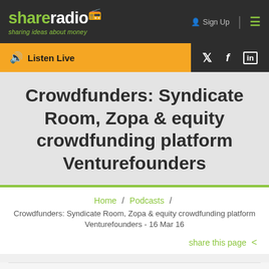share radio — sharing ideas about money | Sign Up
Listen Live
Crowdfunders: Syndicate Room, Zopa & equity crowdfunding platform Venturefounders
Home / Podcasts / Crowdfunders: Syndicate Room, Zopa & equity crowdfunding platform Venturefounders - 16 Mar 16
share this page